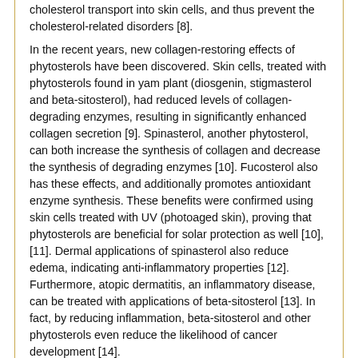cholesterol transport into skin cells, and thus prevent the cholesterol-related disorders [8].
In the recent years, new collagen-restoring effects of phytosterols have been discovered. Skin cells, treated with phytosterols found in yam plant (diosgenin, stigmasterol and beta-sitosterol), had reduced levels of collagen-degrading enzymes, resulting in significantly enhanced collagen secretion [9]. Spinasterol, another phytosterol, can both increase the synthesis of collagen and decrease the synthesis of degrading enzymes [10]. Fucosterol also has these effects, and additionally promotes antioxidant enzyme synthesis. These benefits were confirmed using skin cells treated with UV (photoaged skin), proving that phytosterols are beneficial for solar protection as well [10], [11]. Dermal applications of spinasterol also reduce edema, indicating anti-inflammatory properties [12]. Furthermore, atopic dermatitis, an inflammatory disease, can be treated with applications of beta-sitosterol [13]. In fact, by reducing inflammation, beta-sitosterol and other phytosterols even reduce the likelihood of cancer development [14].
Tags: Phytosterol, anti-inflammatory, anti-bacterial, oil/sebum control, anti-acne, sun damage protection, stimulate collagen production, restore barrier function, matrix metalloproteinase (MMP) inhibitors, wound healing support, scar care